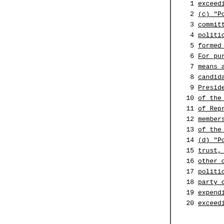1  exceeding $3,000 on behalf of t
2      (c) "Political party commit
3  committee of a political party,
4  political party, a legislative
5  formed by a ward or township co
6  For purposes of this Article, a
7  means a committee established f
8  candidates to the General Assem
9  President of the Senate, Minori
10  of the House of Representatives
11  of Representatives, or a commit
12  members of the same caucus of t
13  of the same caucus of the House
14      (d) "Political action commi
15  trust, partnership, committee,
16  other organization or group of
17  political party, candidate poli
18  party committee, that accepts c
19  expenditures during any 12-mont
20  exceeding $3,000 on behalf of o